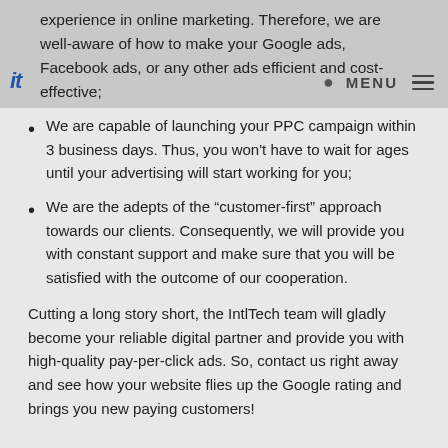experience in online marketing. Therefore, we are well-aware of how to make your Google ads, Facebook ads, or any other ads efficient and cost-effective;
We are capable of launching your PPC campaign within 3 business days. Thus, you won't have to wait for ages until your advertising will start working for you;
We are the adepts of the “customer-first” approach towards our clients. Consequently, we will provide you with constant support and make sure that you will be satisfied with the outcome of our cooperation.
Cutting a long story short, the IntlTech team will gladly become your reliable digital partner and provide you with high-quality pay-per-click ads. So, contact us right away and see how your website flies up the Google rating and brings you new paying customers!